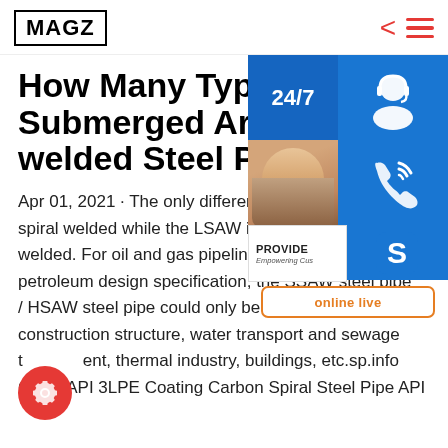MAGZ
How Many Types of Submerged Arc-welded Steel Pipe?
Apr 01, 2021 · The only difference is SSAW is spiral welded while the LSAW is longitudinal welded. For oil and gas pipeline system petroleum design specification, the SSAW steel pipe / HSAW steel pipe could only be applied in construction structure, water transport and sewage treatment, thermal industry, buildings, etc.sp.info China API 3LPE Coating Carbon Spiral Steel Pipe API
[Figure (infographic): Sidebar overlay with 24/7 support icons including headset, phone, skype icons, a customer support photo, PROVIDE Empowering Customers text, and online live button]